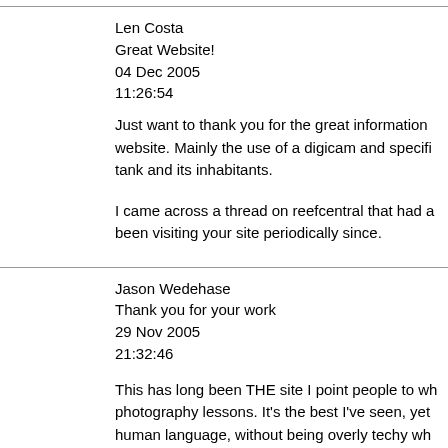Len Costa
Great Website!
04 Dec 2005
11:26:54
Just want to thank you for the great information website. Mainly the use of a digicam and specifi tank and its inhabitants.
I came across a thread on reefcentral that had a been visiting your site periodically since.
Jason Wedehase
Thank you for your work
29 Nov 2005
21:32:46
This has long been THE site I point people to wh photography lessons. It's the best I've seen, yet human language, without being overly techy wh Congratulations on accomplishing such a difficu many months (years?) always wondering why y ReefCentral.com with your reef tank hobby. Tod